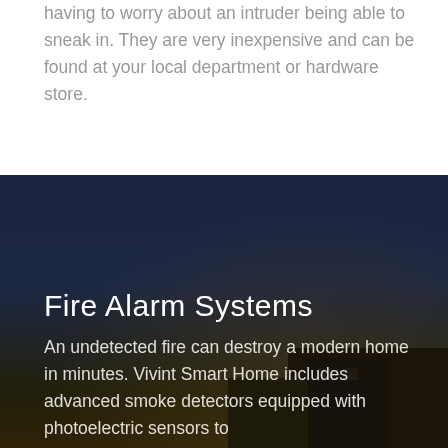having to worry about an intruder being able to sneak in. They are very inexpensive and can be found at your local department or hardware store.
[Figure (photo): Dark nighttime photo of a modern building/house silhouette against a deep navy blue sky, forming the background of a section about Fire Alarm Systems.]
Fire Alarm Systems
An undetected fire can destroy a modern home in minutes. Vivint Smart Home includes advanced smoke detectors equipped with photoelectric sensors to